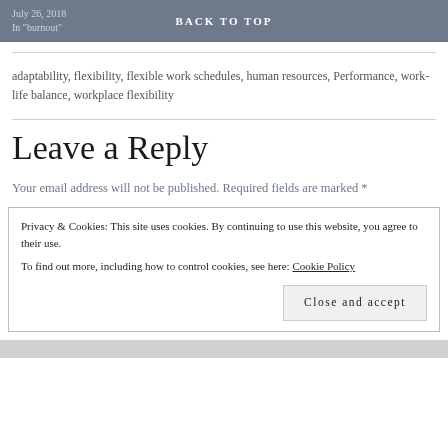July 26, 2018
In "burnout"
BACK TO TOP
adaptability, flexibility, flexible work schedules, human resources, Performance, work-life balance, workplace flexibility
Leave a Reply
Your email address will not be published. Required fields are marked *
Privacy & Cookies: This site uses cookies. By continuing to use this website, you agree to their use.
To find out more, including how to control cookies, see here: Cookie Policy
Close and accept